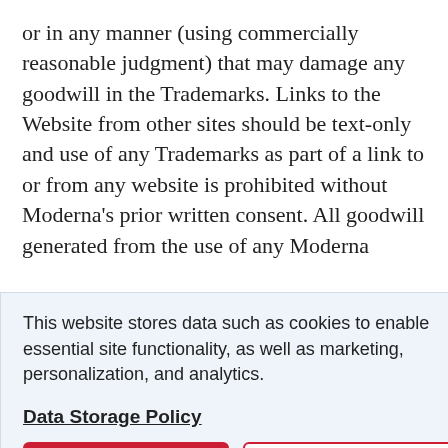or in any manner (using commercially reasonable judgment) that may damage any goodwill in the Trademarks. Links to the Website from other sites should be text-only and use of any Trademarks as part of a link to or from any website is prohibited without Moderna's prior written consent. All goodwill generated from the use of any Moderna
efit.
otected by ion, and ial laws hole or in nited to, ne
[Figure (other): Cookie consent banner overlay with light blue background. Contains text: 'This website stores data such as cookies to enable essential site functionality, as well as marketing, personalization, and analytics.' Followed by a 'Data Storage Policy' link in bold underline, and two buttons: 'Accept' (red filled) and 'Deny' (red outline).]
information may be retransmitted without the